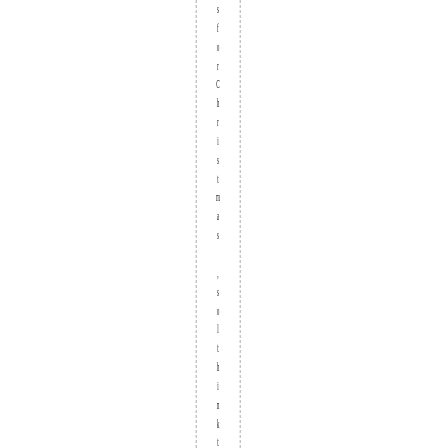sforChristmas ,so I think this one is